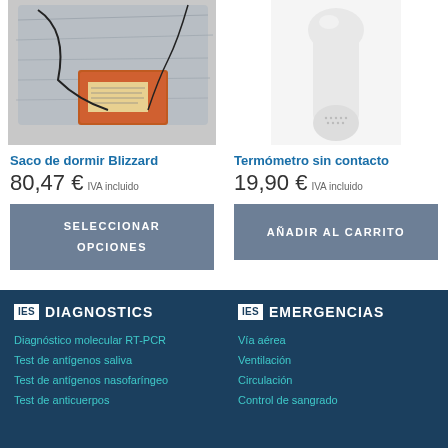[Figure (photo): Blizzard sleeping bag product photo with silver foil and orange components]
Saco de dormir Blizzard
80,47 € IVA incluido
SELECCIONAR OPCIONES
[Figure (photo): White contactless thermometer product photo]
Termómetro sin contacto
19,90 € IVA incluido
AÑADIR AL CARRITO
[Figure (logo): IES DIAGNOSTICS logo]
Diagnóstico molecular RT-PCR
Test de antígenos saliva
Test de antígenos nasofaríngeo
Test de anticuerpos
[Figure (logo): IES EMERGENCIAS logo]
Vía aérea
Ventilación
Circulación
Control de sangrado